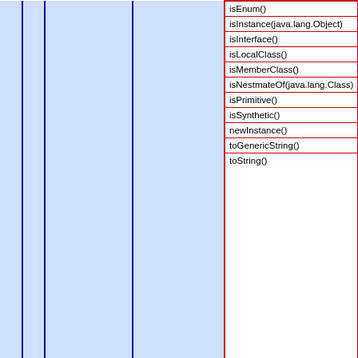|  |  |  |  | Methods |
| --- | --- | --- | --- | --- |
|  |  |  |  | isEnum() |
|  |  |  |  | isInstance(java.lang.Object) |
|  |  |  |  | isInterface() |
|  |  |  |  | isLocalClass() |
|  |  |  |  | isMemberClass() |
|  |  |  |  | isNestmateOf(java.lang.Class) |
|  |  |  |  | isPrimitive() |
|  |  |  |  | isSynthetic() |
|  |  |  |  | newInstance() |
|  |  |  |  | toGenericString() |
|  |  |  |  | toString() |
| StackTrace | Content |
| --- | --- |
| StackTrace | coldfusion.runtime.EventHandlerException: Event handler exception. at coldfu... coldfusion.filter.ApplicationFilter.invoke(ApplicationFilter.java:569) at coldfusion... coldfusion.filter.MonitoringFilter.invoke(MonitoringFilter.java:40) at coldfusion.f... coldfusion.filter.IpFilter.invoke(IpFilter.java:45) at coldfusion.filter.ExceptionFilte... coldfusion.filter.ClientScopePersistenceFilter.invoke(ClientScopePersistenceF... coldfusion.filter.NoCacheFilter.invoke(NoCacheFilter.java:60) at coldfusion.filte... coldfusion.filter.DatasourceFilter.invoke(DatasourceFilter.java:22) at coldfusion... coldfusion.CfmServlet.service(CfmServlet.java:231) at coldfusion.bootstrap.Bo... org.apache.catalina.core.ApplicationFilterChain.internalDoFilter(ApplicationFil... org.apache.catalina.core.ApplicationFilterChain.doFilter(ApplicationFilterChair... coldfusion.monitor.event.MonitoringServletFilter.doFilter(MonitoringServletFilte... org.apache.catalina.core.ApplicationFilterChain.internalDoFilter(ApplicationFilt... org.apache.catalina.core.ApplicationFilterChain.doFilter(ApplicationFilterChain... org.apache.tomcat.websocket.server.WsFilter.doFilter(WsFilter.java:53) at org.apache.catalina.core.ApplicationFilterChain.internalDoFilter(ApplicationFilte... org.apache.catalina.core.ApplicationFilterChain.doFilter(ApplicationFilterChain... org.apache.catalina.core.StandardWrapperValve.invoke(StandardWrapperVale... org.apache.catalina.core.StandardContextValve.invoke(StandardContextValve... org.apache.catalina.authenticator.AuthenticatorBase.invoke(AuthenticatorBas... org.apache.catalina.core.StandardHostValve.invoke(StandardHostValve.java:... org.apache.catalina.valves.ErrorReportValve.invoke(ErrorReportValve.java:92... org.apache.catalina.core.StandardEngineValve.invoke(StandardEngineValve.j... org.apache.connector.CoyoteAdapter.service(CoyoteAdapter.java:373... org.apache.coyote.AbstractProcessorLight.process(AbstractProcessorLight... |